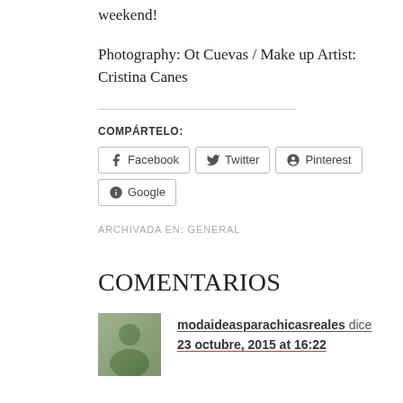weekend!
Photography: Ot Cuevas / Make up Artist: Cristina Canes
COMPÁRTELO:
Facebook Twitter Pinterest Google
ARCHIVADA EN: GENERAL
COMENTARIOS
modaideasparachicasreales dice
23 octubre, 2015 at 16:22